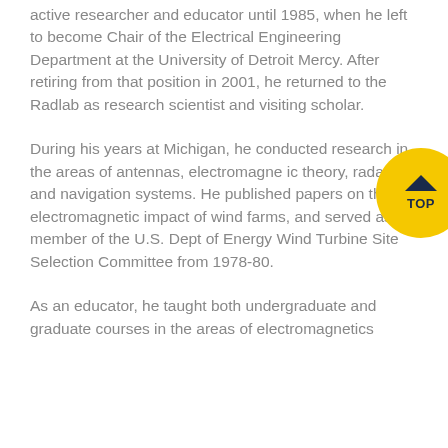active researcher and educator until 1985, when he left to become Chair of the Electrical Engineering Department at the University of Detroit Mercy. After retiring from that position in 2001, he returned to the Radlab as research scientist and visiting scholar.
During his years at Michigan, he conducted research in the areas of antennas, electromagnetic theory, radar, and navigation systems. He published papers on the electromagnetic impact of wind farms, and served as a member of the U.S. Dept of Energy Wind Turbine Site Selection Committee from 1978-80.
As an educator, he taught both undergraduate and graduate courses in the areas of electromagnetics